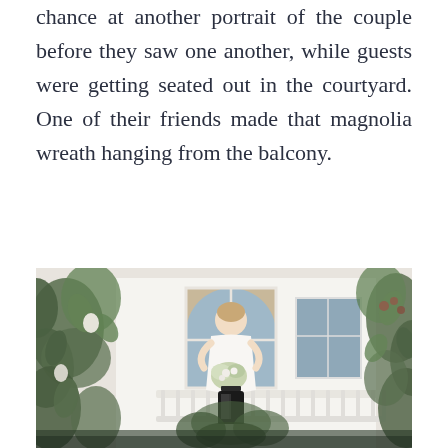chance at another portrait of the couple before they saw one another, while guests were getting seated out in the courtyard. One of their friends made that magnolia wreath hanging from the balcony.
[Figure (photo): A bride in a white off-shoulder dress holding a bouquet stands on a balcony of a white building with arched windows. Magnolia wreath and greenery visible in the foreground, along with a black lantern.]